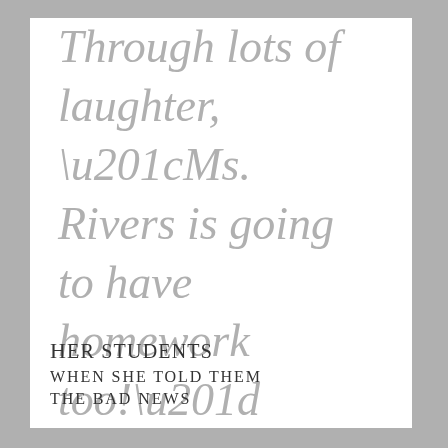Through lots of laughter, “Ms. Rivers is going to have homework too!”
Her students when she told them the bad news